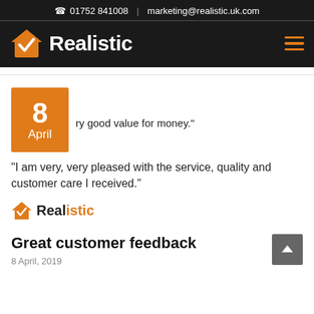01752 841008 | marketing@realistic.uk.com
[Figure (logo): Realistic company logo with orange house/checkmark icon and white bold text 'Realistic' on dark background]
ry good value for money."
"I am very, very pleased with the service, quality and customer care I received."
[Figure (logo): Small Realistic logo with orange house/checkmark icon and bold text 'Realistic']
Great customer feedback
8 April, 2019